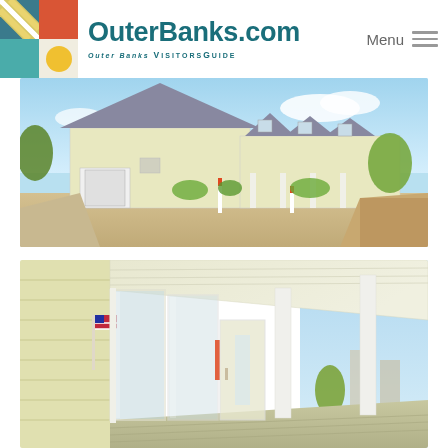OuterBanks.com Outer Banks Visitors Guide | Menu
[Figure (photo): Exterior view of a large yellow beach house with gray roof, multiple dormers, white siding, surrounded by green lawn and sandy landscaping under clear blue sky.]
[Figure (photo): Covered porch/corridor of a yellow beach house with white columns, sliding glass doors, flag on wall, looking down a long walkway toward the ocean and blue sky.]